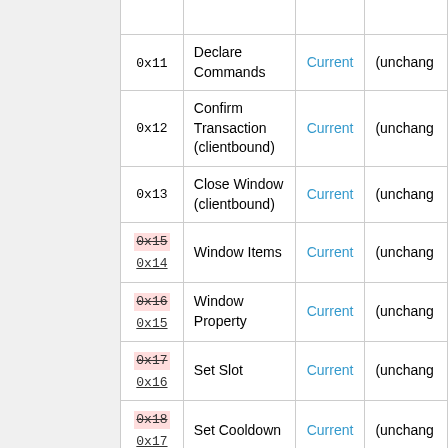| ID | Name | Current | Previous |
| --- | --- | --- | --- |
| (partial) | (partial) | (partial) | (partial) |
| 0x11 | Declare Commands | Current | (unchanged) |
| 0x12 | Confirm Transaction (clientbound) | Current | (unchanged) |
| 0x13 | Close Window (clientbound) | Current | (unchanged) |
| 0x15 → 0x14 | Window Items | Current | (unchanged) |
| 0x16 → 0x15 | Window Property | Current | (unchanged) |
| 0x17 → 0x16 | Set Slot | Current | (unchanged) |
| 0x18 → 0x17 | Set Cooldown | Current | (unchanged) |
| 0x19 → 0x18 | Plugin Message (clientbound) | Current | Pre |